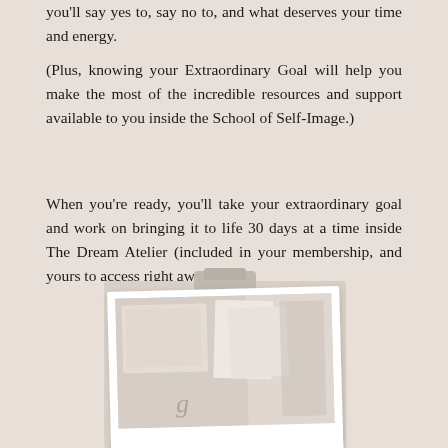you'll say yes to, say no to, and what deserves your time and energy.
(Plus, knowing your Extraordinary Goal will help you make the most of the incredible resources and support available to you inside the School of Self-Image.)
When you're ready, you'll take your extraordinary goal and work on bringing it to life 30 days at a time inside The Dream Atelier (included in your membership, and yours to access right away)!
[Figure (photo): A polaroid-style photo on a clipboard showing an aesthetic flat lay with papers, lace fabric, and handwritten script — all in neutral cream and taupe tones.]